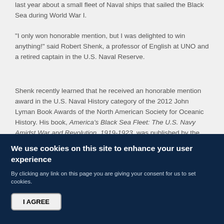last year about a small fleet of Naval ships that sailed the Black Sea during World War I.
"I only won honorable mention, but I was delighted to win anything!" said Robert Shenk, a professor of English at UNO and a retired captain in the U.S. Naval Reserve.
Shenk recently learned that he received an honorable mention award in the U.S. Naval History category of the 2012 John Lyman Book Awards of the North American Society for Oceanic History. His book, America's Black Sea Fleet: The U.S. Navy Amidst War and Revolution, 1919-1923, was published by the Naval Institute Press in 2012.
An Officer and a Gentleman
The Naval Institute Press has previously published four Shenk books, including a biography of his own career and...
We use cookies on this site to enhance your user experience
By clicking any link on this page you are giving your consent for us to set cookies.